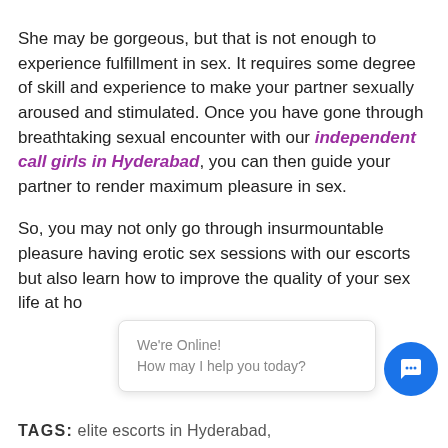She may be gorgeous, but that is not enough to experience fulfillment in sex. It requires some degree of skill and experience to make your partner sexually aroused and stimulated. Once you have gone through breathtaking sexual encounter with our independent call girls in Hyderabad, you can then guide your partner to render maximum pleasure in sex.
So, you may not only go through insurmountable pleasure having erotic sex sessions with our escorts but also learn how to improve the quality of your sex life at home.
[Figure (other): Live chat widget overlay with 'We're Online! How may I help you today?' popup and blue circular chat icon button]
TAGS: elite escorts in Hyderabad,